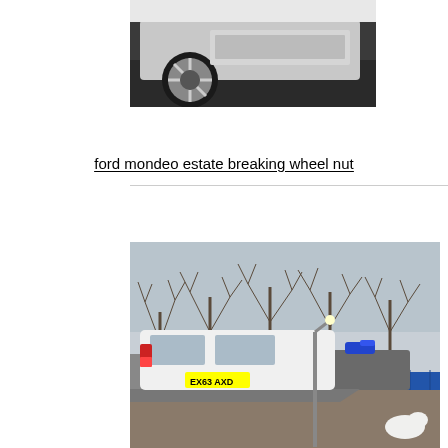[Figure (photo): Partial rear view of a silver/white car on dark asphalt, showing alloy wheel and lower body]
ford mondeo estate breaking wheel nut
[Figure (photo): White Ford Mondeo estate (EX63 AXD) on a flatbed recovery truck in a yard, with bare winter trees in background]